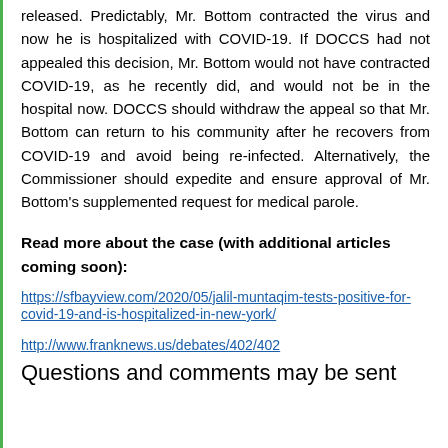released. Predictably, Mr. Bottom contracted the virus and now he is hospitalized with COVID-19. If DOCCS had not appealed this decision, Mr. Bottom would not have contracted COVID-19, as he recently did, and would not be in the hospital now. DOCCS should withdraw the appeal so that Mr. Bottom can return to his community after he recovers from COVID-19 and avoid being re-infected. Alternatively, the Commissioner should expedite and ensure approval of Mr. Bottom's supplemented request for medical parole.
Read more about the case (with additional articles coming soon):
https://sfbayview.com/2020/05/jalil-muntaqim-tests-positive-for-covid-19-and-is-hospitalized-in-new-york/
http://www.franknews.us/debates/402/402
Questions and comments may be sent